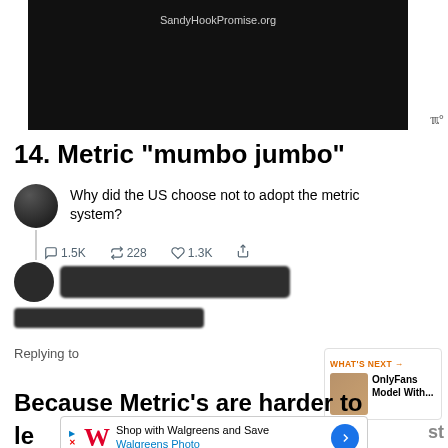[Figure (screenshot): Black video thumbnail with SandyHookPromise.org URL shown at top]
14. Metric “mumbo jumbo”
[Figure (screenshot): Tweet asking 'Why did the US choose not to adopt the metric system?' with engagement metrics: 1.5K replies, 228 retweets, 1.3K likes]
[Figure (screenshot): Redacted/blurred Twitter username and reply content]
Replying to
[Figure (screenshot): What's Next panel showing OnlyFans Model With...]
Because Metric’s are harder to
[Figure (screenshot): Walgreens ad banner: Shop with Walgreens and Save - Walgreens Photo]
le    st